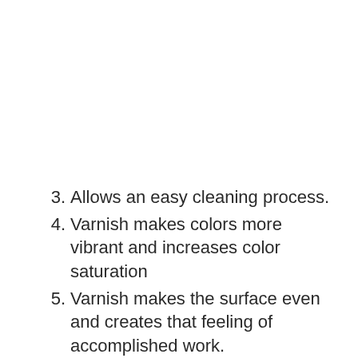3. Allows an easy cleaning process.
4. Varnish makes colors more vibrant and increases color saturation
5. Varnish makes the surface even and creates that feeling of accomplished work.
6. Varnish makes your painting last longer (dozens of years) due to removal options.